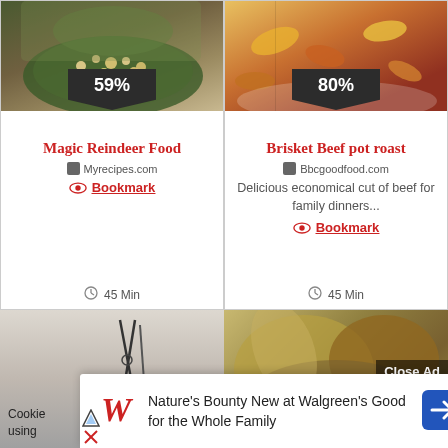[Figure (photo): Food photo showing cereal/snack mix in a bowl, with 59% badge overlay]
Magic Reindeer Food
Myrecipes.com
Bookmark
45 Min
[Figure (photo): Food photo showing roasted vegetables on a plate, with 80% badge overlay]
Brisket Beef pot roast
Bbcgoodfood.com
Delicious economical cut of beef for family dinners...
Bookmark
45 Min
[Figure (photo): Photo of scissors/utensils on white background, with Cookie/using text]
[Figure (photo): Photo of cooked food dish with Close Ad button overlay]
Close Ad
Cookie using
Nature's Bounty New at Walgreen's Good for the Whole Family